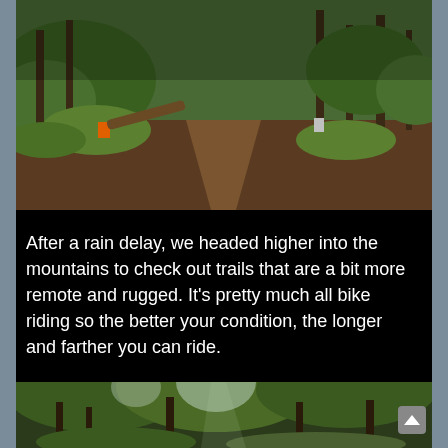[Figure (photo): A dirt mountain bike trail winding through a green forest with ferns and trees on a hillside]
After a rain delay, we headed higher into the mountains to check out trails that are a bit more remote and rugged. It's pretty much all bike riding so the better your condition, the longer and farther you can ride.
Everything was still a little moist, but there was some great riding to be had.
[Figure (photo): A forest trail surrounded by lush green trees and foliage, viewed from below looking up]